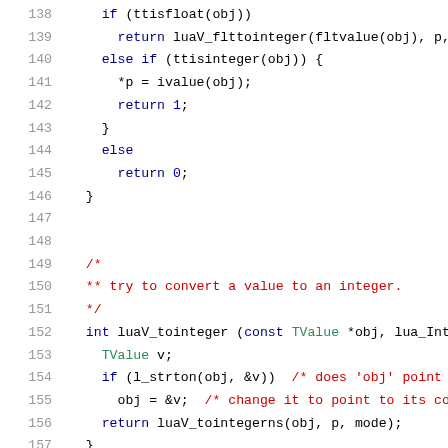[Figure (screenshot): Source code listing in C showing lines 138-158 of a Lua interpreter file, featuring functions related to converting values to integers. Code uses syntax highlighting with blue keywords, red comments, teal types, and black punctuation.]